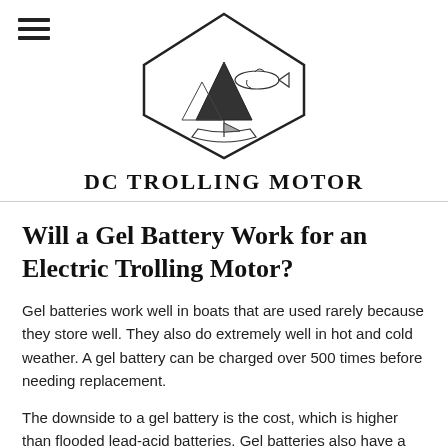[Figure (logo): DC Trolling Motor logo: diamond-shaped emblem with illustrations of a tent/mountain, a fish, and a boat/motor inside. Below the emblem the text 'DC TROLLING MOTOR' in bold serif letters.]
Will a Gel Battery Work for an Electric Trolling Motor?
Gel batteries work well in boats that are used rarely because they store well. They also do extremely well in hot and cold weather. A gel battery can be charged over 500 times before needing replacement.
The downside to a gel battery is the cost, which is higher than flooded lead-acid batteries. Gel batteries also have a sensitive charge profile, so you must have a charger that is compatible.